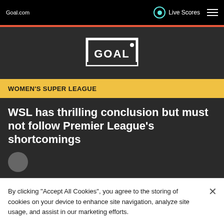Goal.com
Live Scores
[Figure (logo): GOAL logo — white soccer goal frame with GOAL text inside on dark background]
WOMEN'S SUPER LEAGUE
WSL has thrilling conclusion but must not follow Premier League's shortcomings
By clicking "Accept All Cookies", you agree to the storing of cookies on your device to enhance site navigation, analyze site usage, and assist in our marketing efforts.
Cookies Settings
Accept All Cookies